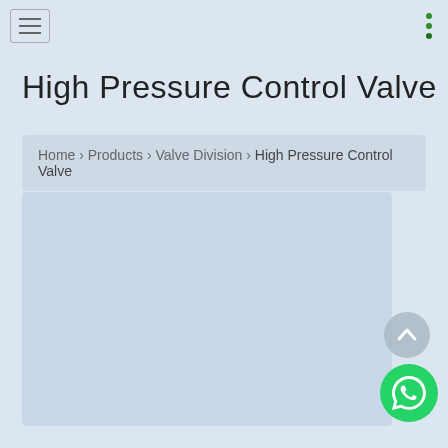High Pressure Control Valve — navigation bar with hamburger menu and three-dot menu
High Pressure Control Valve
Home › Products › Valve Division › High Pressure Control Valve
[Figure (photo): Large light blue placeholder image area for High Pressure Control Valve product photo]